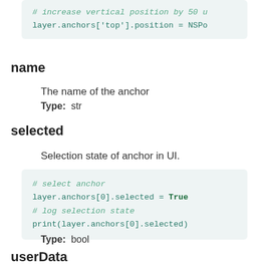[Figure (screenshot): Code block showing: # increase vertical position by 50 u / layer.anchors['top'].position = NSPo]
name
The name of the anchor
Type:  str
selected
Selection state of anchor in UI.
[Figure (screenshot): Code block: # select anchor / layer.anchors[0].selected = True / # log selection state / print(layer.anchors[0].selected)]
Type:  bool
userData
A dictionary to store user data. Use a